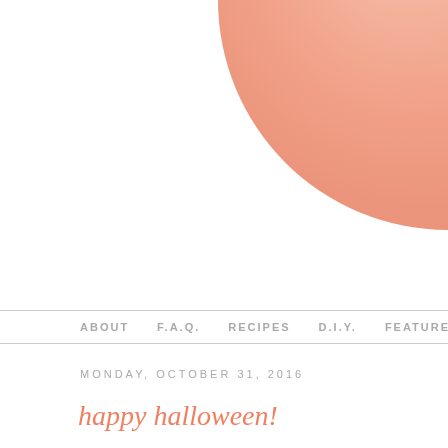[Figure (illustration): Partial view of a large peach/salmon colored circle or balloon shape in the upper right corner of the page, on a white background.]
ABOUT   F.A.Q.   RECIPES   D.I.Y.   FEATURED
MONDAY, OCTOBER 31, 2016
happy halloween!